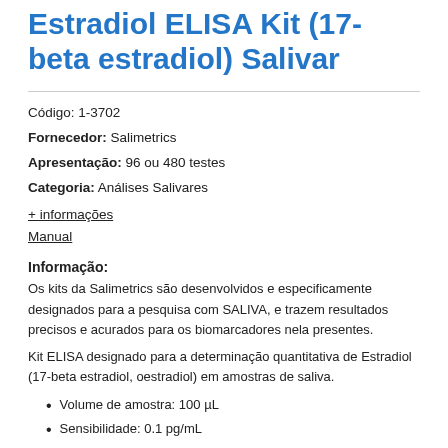Estradiol ELISA Kit (17-beta estradiol) Salivar
Código: 1-3702
Fornecedor: Salimetrics
Apresentação: 96 ou 480 testes
Categoria: Análises Salivares
+ informações
Manual
Informação:
Os kits da Salimetrics são desenvolvidos e especificamente designados para a pesquisa com SALIVA, e trazem resultados precisos e acurados para os biomarcadores nela presentes.
Kit ELISA designado para a determinação quantitativa de Estradiol (17-beta estradiol, oestradiol) em amostras de saliva.
Volume de amostra: 100 µL
Sensibilidade: 0.1 pg/mL
Tempo de ensaio: 3 horas